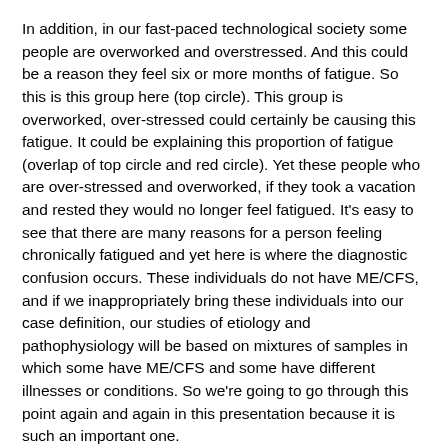In addition, in our fast-paced technological society some people are overworked and overstressed. And this could be a reason they feel six or more months of fatigue. So this is this group here (top circle). This group is overworked, over-stressed could certainly be causing this fatigue. It could be explaining this proportion of fatigue (overlap of top circle and red circle). Yet these people who are over-stressed and overworked, if they took a vacation and rested they would no longer feel fatigued. It's easy to see that there are many reasons for a person feeling chronically fatigued and yet here is where the diagnostic confusion occurs. These individuals do not have ME/CFS, and if we inappropriately bring these individuals into our case definition, our studies of etiology and pathophysiology will be based on mixtures of samples in which some have ME/CFS and some have different illnesses or conditions. So we're going to go through this point again and again in this presentation because it is such an important one.
Slide 7
On this slide you see the international case definition. The